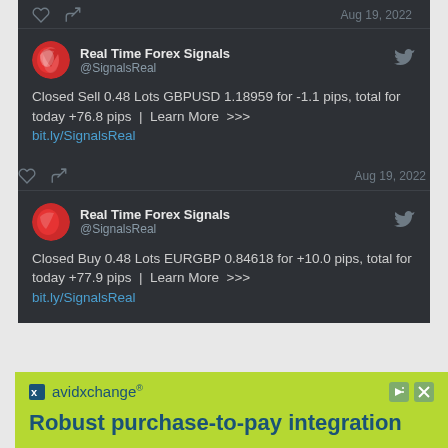Aug 19, 2022
Real Time Forex Signals @SignalsReal
Closed Sell 0.48 Lots GBPUSD 1.18959 for -1.1 pips, total for today +76.8 pips | Learn More >>> bit.ly/SignalsReal
Aug 19, 2022
Real Time Forex Signals @SignalsReal
Closed Buy 0.48 Lots EURGBP 0.84618 for +10.0 pips, total for today +77.9 pips | Learn More >>> bit.ly/SignalsReal
avidxchange Robust purchase-to-pay integration